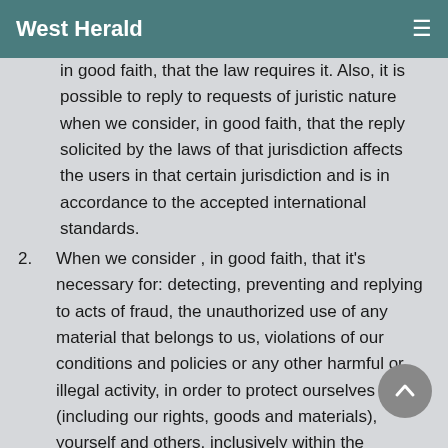West Herald
in good faith, that the law requires it. Also, it is possible to reply to requests of juristic nature when we consider, in good faith, that the reply solicited by the laws of that jurisdiction affects the users in that certain jurisdiction and is in accordance to the accepted international standards.
2. When we consider , in good faith, that it's necessary for: detecting, preventing and replying to acts of fraud, the unauthorized use of any material that belongs to us, violations of our conditions and policies or any other harmful or illegal activity, in order to protect ourselves (including our rights, goods and materials), yourself and others, inclusively within the regulating authorities' investigations and inquiries or for preventing any imminent death or injury. For example, if it is relevant, we provide information to and receive information from third party